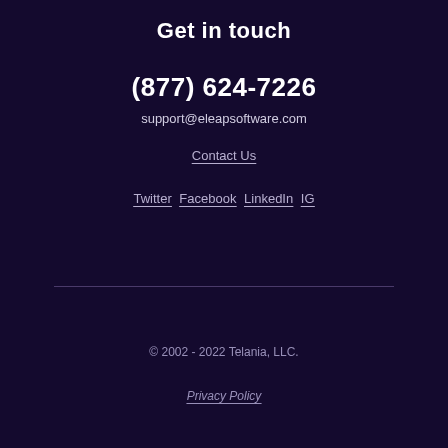Get in touch
(877) 624-7226
support@eleapsoftware.com
Contact Us
Twitter Facebook LinkedIn IG
© 2002 - 2022 Telania, LLC.
Privacy Policy